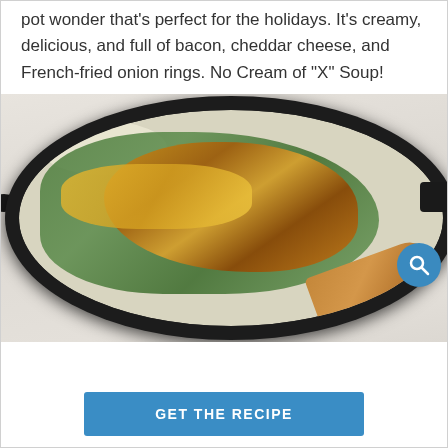pot wonder that's perfect for the holidays. It's creamy, delicious, and full of bacon, cheddar cheese, and French-fried onion rings. No Cream of "X" Soup!
[Figure (photo): Overhead view of a cast iron skillet containing a green bean casserole with creamy sauce, topped with golden crispy French-fried onion rings and melted cheddar cheese. A wooden spoon is partially inserted from the right side. A magnifying glass search icon appears in the lower right of the image.]
GET THE RECIPE